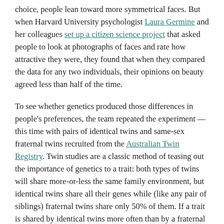choice, people lean toward more symmetrical faces. But when Harvard University psychologist Laura Germine and her colleagues set up a citizen science project that asked people to look at photographs of faces and rate how attractive they were, they found that when they compared the data for any two individuals, their opinions on beauty agreed less than half of the time.
To see whether genetics produced those differences in people's preferences, the team repeated the experiment — this time with pairs of identical twins and same-sex fraternal twins recruited from the Australian Twin Registry. Twin studies are a classic method of teasing out the importance of genetics to a trait: both types of twins will share more-or-less the same family environment, but identical twins share all their genes while (like any pair of siblings) fraternal twins share only 50% of them. If a trait is shared by identical twins more often than by a fraternal pair, genes probably play a big role in creating that trait.